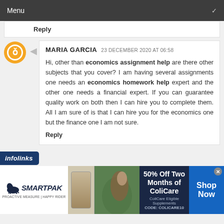Menu
Reply
MARIA GARCIA  23 DECEMBER 2020 AT 06:58

Hi, other than economics assignment help are there other subjects that you cover? I am having several assignments one needs an economics homework help expert and the other one needs a financial expert. If you can guarantee quality work on both then I can hire you to complete them. All I am sure of is that I can hire you for the economics one but the finance one I am not sure.

Reply
[Figure (infographic): infolinks branding bar in dark blue]
[Figure (infographic): SmartPak advertisement banner: 50% Off Two Months of ColiCare, ColiCare Eligible Supplements, CODE: COLICARE10, Shop Now]